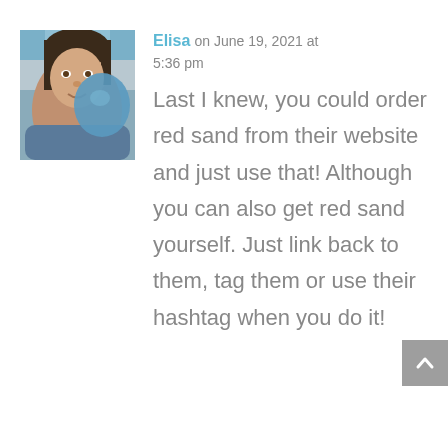[Figure (photo): Profile photo of a woman named Elisa, shown from shoulders up, with a blue circular object in the background]
Elisa on June 19, 2021 at 5:36 pm
Last I knew, you could order red sand from their website and just use that! Although you can also get red sand yourself. Just link back to them, tag them or use their hashtag when you do it!